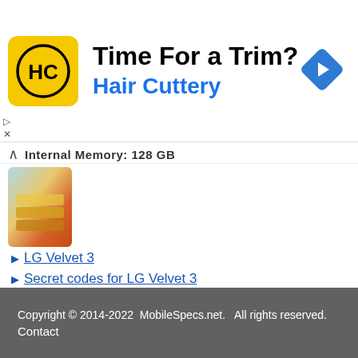[Figure (advertisement): Hair Cuttery ad banner with yellow square HC logo, text 'Time For a Trim?' and 'Hair Cuttery' in blue, blue diamond arrow icon on right]
Internal Memory: 128 GB
[Figure (photo): LG Velvet 3 phone thumbnail image with colorful gradient]
LG Velvet 3
Secret codes for LG Velvet 3
1 | 2 | 3 | 4 | 5 | 6 | 7 | 8 | 9 | 10 | 11 . . . >|
Copyright © 2014-2022  MobileSpecs.net.   All rights reserved.
Contact